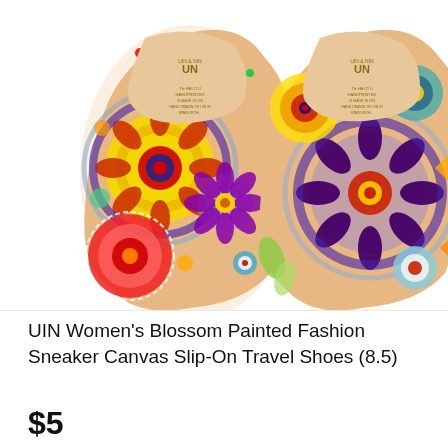[Figure (photo): Top-down view of two UIN women's slip-on shoes with colorful mandala/blossom painted pattern on canvas upper, beige insole with UIN logo, against white background]
UIN Women's Blossom Painted Fashion Sneaker Canvas Slip-On Travel Shoes (8.5)
$59.99